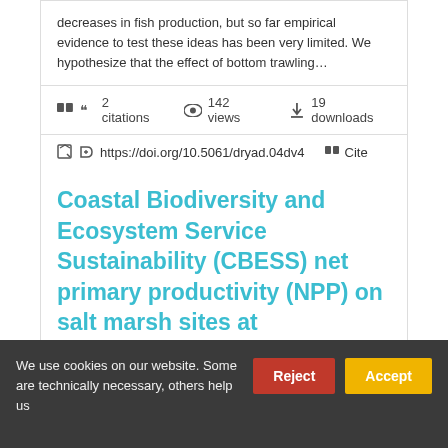decreases in fish production, but so far empirical evidence to test these ideas has been very limited. We hypothesize that the effect of bottom trawling…
2 citations   142 views   19 downloads
https://doi.org/10.5061/dryad.04dv4   Cite
Coastal Biodiversity and Ecosystem Service Sustainability (CBESS) net primary productivity (NPP) on salt marsh sites at Morecambe
We use cookies on our website. Some are technically necessary, others help us…